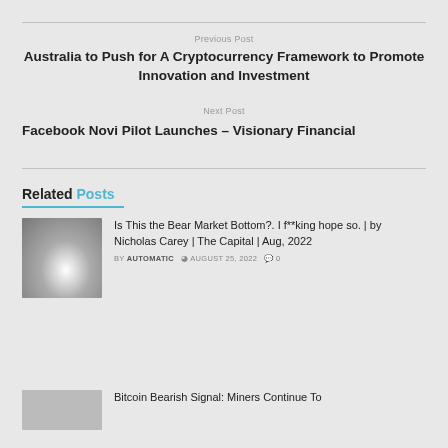Previous Post
Australia to Push for A Cryptocurrency Framework to Promote Innovation and Investment
Next Post
Facebook Novi Pilot Launches – Visionary Financial
Related Posts
[Figure (photo): Grayscale photo of a hand holding something small, used as thumbnail for bear market article]
Is This the Bear Market Bottom?. I f**king hope so. | by Nicholas Carey | The Capital | Aug, 2022
BY AUTOMATIC  AUGUST 25, 2022  0
Bitcoin Bearish Signal: Miners Continue To